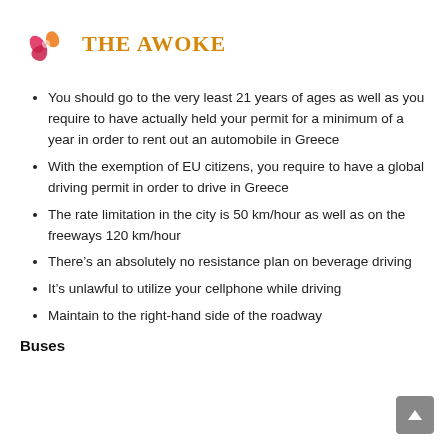[Figure (logo): The Awoke logo: circular swirl icon in pink/orange/red with text 'THE AWOKE' in orange bold serif font]
You should go to the very least 21 years of ages as well as you require to have actually held your permit for a minimum of a year in order to rent out an automobile in Greece
With the exemption of EU citizens, you require to have a global driving permit in order to drive in Greece
The rate limitation in the city is 50 km/hour as well as on the freeways 120 km/hour
There’s an absolutely no resistance plan on beverage driving
It’s unlawful to utilize your cellphone while driving
Maintain to the right-hand side of the roadway
Buses